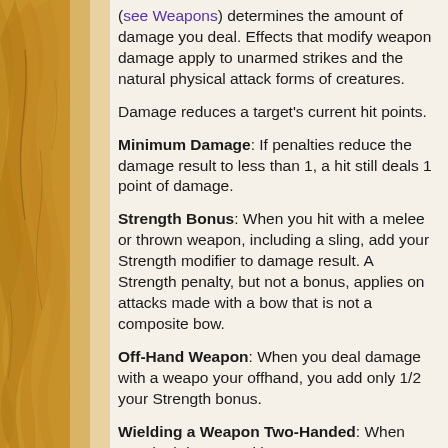(see Weapons) determines the amount of damage you deal. Effects that modify weapon damage apply to unarmed strikes and the natural physical attack forms of creatures.
Damage reduces a target's current hit points.
Minimum Damage: If penalties reduce the damage result to less than 1, a hit still deals 1 point of damage.
Strength Bonus: When you hit with a melee or thrown weapon, including a sling, add your Strength modifier to damage result. A Strength penalty, but not a bonus, applies on attacks made with a bow that is not a composite bow.
Off-Hand Weapon: When you deal damage with a weapo your offhand, you add only 1/2 your Strength bonus.
Wielding a Weapon Two-Handed: When you deal damage with a weapon